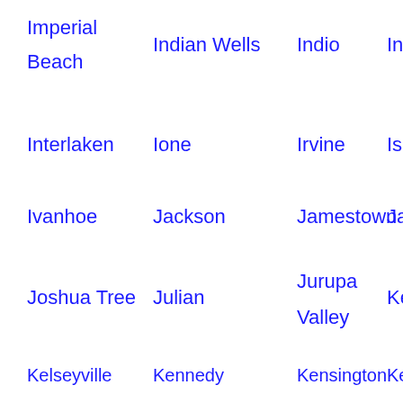Imperial Beach
Indian Wells
Indio
Ing-
Interlaken
Ione
Irvine
Isla-
Ivanhoe
Jackson
Jamestown
Jam-
Joshua Tree
Julian
Jurupa Valley
Kell-
Kelseyville
Kennedy
Kensington
Ken-
Kerman
Kettleman City
Keyes
King-
Kings Beach
Kingsburg
Knightsen
La C-